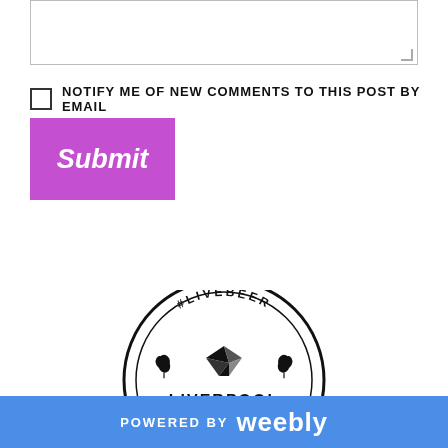[Figure (other): Text area input box (form element)]
NOTIFY ME OF NEW COMMENTS TO THIS POST BY EMAIL
[Figure (other): Submit button in purple/violet color with white italic text]
[Figure (logo): Liverpool Beer circular logo with #LIVEBEER text at top, hop icons, stylized bird/swan icon, and text LIVERPOOL BEER in bold block letters]
POWERED BY weebly